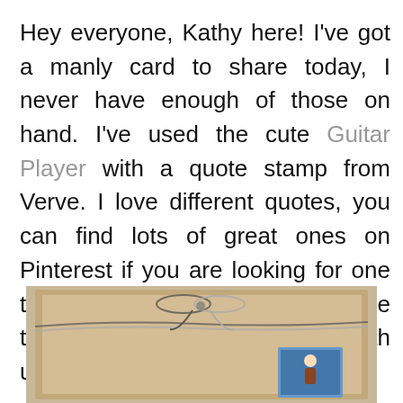Hey everyone, Kathy here! I've got a manly card to share today, I never have enough of those on hand. I've used the cute Guitar Player with a quote stamp from Verve. I love different quotes, you can find lots of great ones on Pinterest if you are looking for one to use. Hope you will take some time and play along this month using a favorite quote!
[Figure (photo): A handmade card with kraft/tan cardstock background, tied with a black and white twine bow, with a small image panel visible in the lower right corner.]